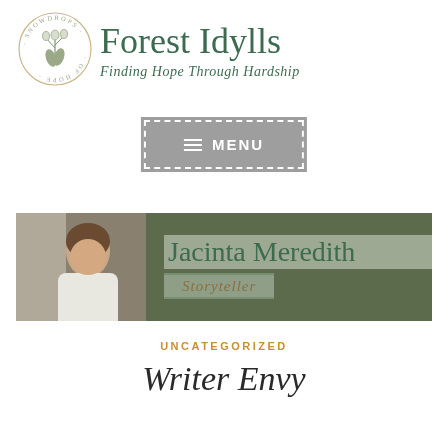[Figure (logo): Snowdrops of Hope circular botanical logo with snowdrop flowers illustration]
Forest Idylls
Finding Hope Through Hardship
[Figure (screenshot): Menu navigation button with hamburger icon and MENU text on grey background with dashed border]
[Figure (photo): Author banner image showing Jacinta Meredith with her photo on the left and name with Storyteller subtitle on the right over a forest background]
UNCATEGORIZED
Writer Envy